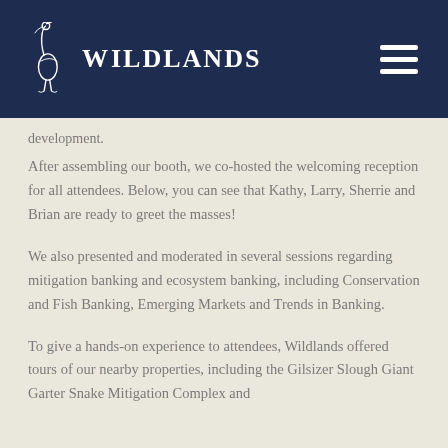WILDLANDS
development.
After assembling our booth, we co-hosted the welcoming reception for all attendees. Below, you can see that Kathy, Larry, Sherrie and Brian are ready to greet the masses!
We also presented and moderated in several sessions regarding mitigation banking and ecosystem banking, including Conservation and Fish Banking, Emerging Markets and Trends in Banking.
To give a hands-on experience to attendees, Wildlands offered tours of our nearby properties, including the Gilsizer Slough Giant Garter Snake Mitigation Complex and